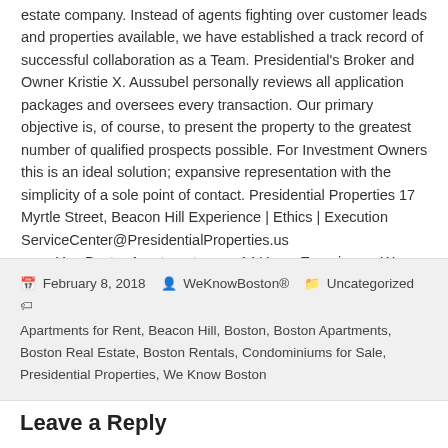estate company. Instead of agents fighting over customer leads and properties available, we have established a track record of successful collaboration as a Team. Presidential's Broker and Owner Kristie X. Aussubel personally reviews all application packages and oversees every transaction. Our primary objective is, of course, to present the property to the greatest number of qualified prospects possible. For Investment Owners this is an ideal solution; expansive representation with the simplicity of a sole point of contact. Presidential Properties 17 Myrtle Street, Beacon Hill Experience | Ethics | Execution ServiceCenter@PresidentialProperties.us www.YourBostonApartments.com 14 Years Experience. We Know Boston® View all posts by WeKnowBoston® →
February 8, 2018  WeKnowBoston®  Uncategorized  Apartments for Rent, Beacon Hill, Boston, Boston Apartments, Boston Real Estate, Boston Rentals, Condominiums for Sale, Presidential Properties, We Know Boston
Leave a Reply